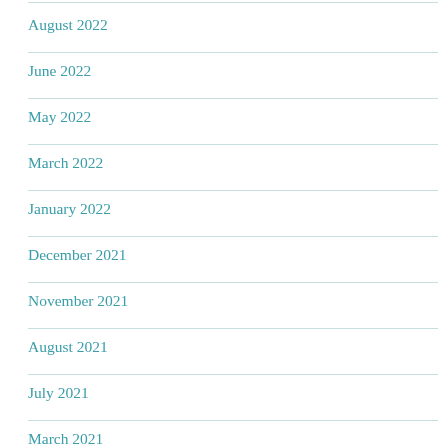August 2022
June 2022
May 2022
March 2022
January 2022
December 2021
November 2021
August 2021
July 2021
March 2021